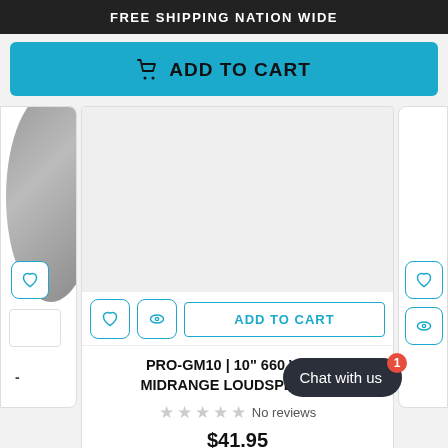FREE SHIPPING NATION WIDE
ADD TO CART
[Figure (screenshot): Product card area showing a partial circular speaker image on the left, action icons, and an outlined ADD TO CART button for the center product card, plus a partial right card]
ADD TO CART
PRO-GM10 | 10" 660 WATT MIDRANGE LOUDSPEAKER
No reviews
$41.95
DS18
Chat with us